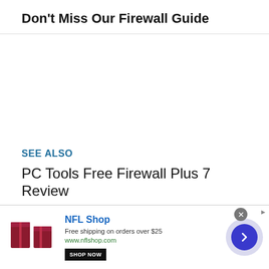Don't Miss Our Firewall Guide
SEE ALSO
PC Tools Free Firewall Plus 7 Review
PC Tools Firewall Plus 7 is a Great Firewall for Windows
[Figure (infographic): Advertisement banner for NFL Shop showing dark red gift boxes image, NFL Shop brand name in blue, text 'Free shipping on orders over $25', URL www.nflshop.com, a SHOP NOW button, a close X button, a blue right-arrow circle button, and an Ad label marker.]